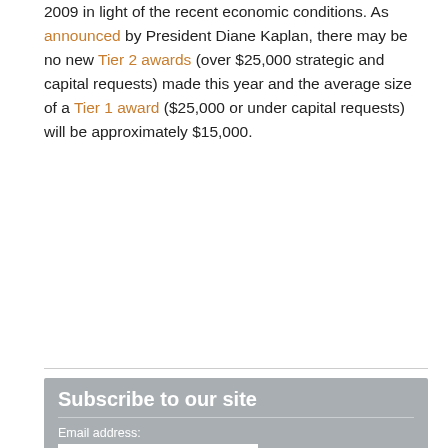2009 in light of the recent economic conditions. As announced by President Diane Kaplan, there may be no new Tier 2 awards (over $25,000 strategic and capital requests) made this year and the average size of a Tier 1 award ($25,000 or under capital requests) will be approximately $15,000.
[Figure (other): Subscribe to our site widget with email address input field and SIGN UP button on grey background]
[Figure (other): Contact Us widget on grey background with text 'Give us a call before you apply and we'll help you get started!' and PHONE label]